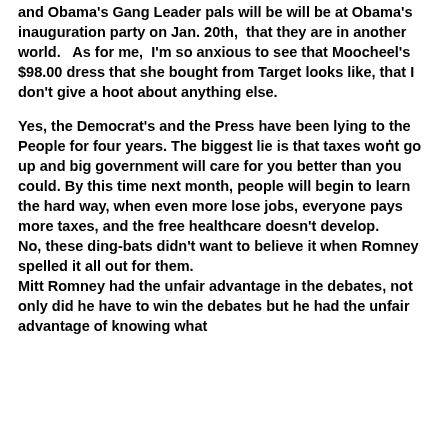and Obama's Gang Leader pals will be will be at Obama's inauguration party on Jan. 20th,  that they are in another world.   As for me,  I'm so anxious to see that Moocheel's $98.00 dress that she bought from Target looks like, that I don't give a hoot about anything else.
Yes, the Democrat's and the Press have been lying to the People for four years. The biggest lie is that taxes wońt go up and big government will care for you better than you could. By this time next month, people will begin to learn the hard way, when even more lose jobs, everyone pays more taxes, and the free healthcare doesn't develop.
No, these ding-bats didn't want to believe it when Romney spelled it all out for them.
Mitt Romney had the unfair advantage in the debates, not only did he have to win the debates but he had the unfair advantage of knowing what